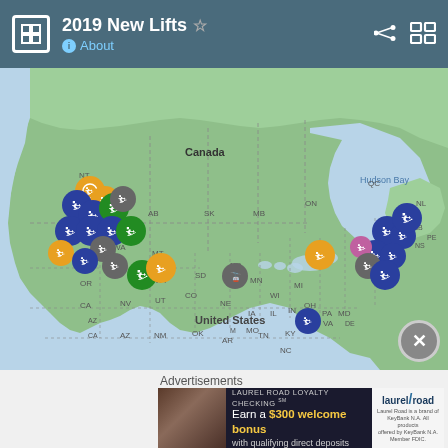2019 New Lifts
[Figure (map): Interactive map of North America showing ski lift locations for 2019 new lifts across the United States and Canada, with colored circular markers indicating different lift types. Markers in blue, orange, green, and gray colors appear clustered in the western US/Canada region, northeastern US/Canada, and a few in the central/southeastern US.]
Advertisements
[Figure (other): Laurel Road Loyalty Checking advertisement banner: 'LAUREL ROAD LOYALTY CHECKING SM - Earn a $300 welcome bonus with qualifying direct deposits'. Includes Laurel Road logo and fine print: 'Laurel Road is a brand of KeyBank N.A. All products offered by KeyBank N.A. Member FDIC.']